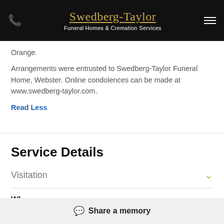Swedberg-Taylor Funeral Homes & Cremation Services
Orange.
Arrangements were entrusted to Swedberg-Taylor Funeral Home, Webster. Online condolences can be made at www.swedberg-taylor.com.
Read Less
Service Details
Visitation
When
Friday, June 17, 2022 1:00pm - 2:00pm
Share a memory